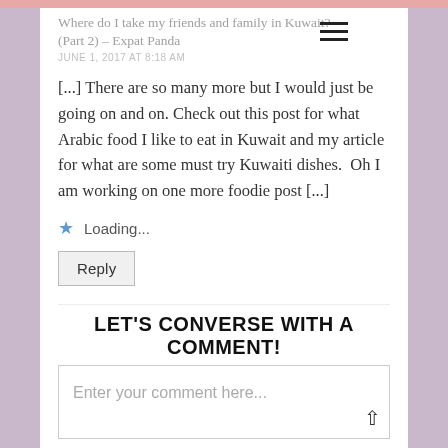Where do I take my friends and family in Kuwait? (Part 2) – Expat Panda
JUNE 1, 2017 AT 8:18 AM
[...] There are so many more but I would just be going on and on. Check out this post for what Arabic food I like to eat in Kuwait and my article for what are some must try Kuwaiti dishes.  Oh I am working on one more foodie post [...]
Loading...
Reply
LET'S CONVERSE WITH A COMMENT!
Enter your comment here...
This site uses Akismet to reduce spam. Learn how your comment data is processed.